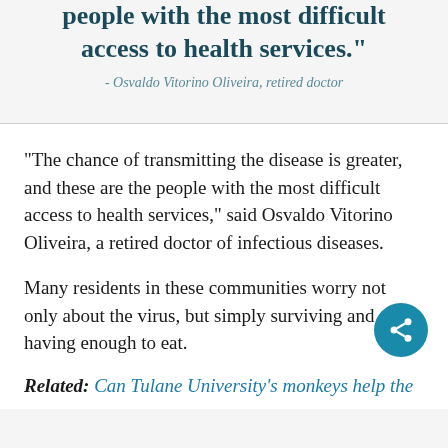people with the most difficult access to health services."
- Osvaldo Vitorino Oliveira, retired doctor
“The chance of transmitting the disease is greater, and these are the people with the most difficult access to health services,” said Osvaldo Vitorino Oliveira, a retired doctor of infectious diseases.
Many residents in these communities worry not only about the virus, but simply surviving and having enough to eat.
Related: Can Tulane University’s monkeys help the